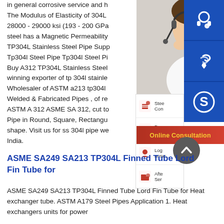in general corrosive service and h. The Modulus of Elasticity of 304L 28000 - 29000 ksi (193 - 200 GPa steel has a Magnetic Permeability TP304L Stainless Steel Pipe Supp Tp304l Steel Pipe Tp304l Steel Pi Buy A312 TP304L Stainless Steel winning exporter of tp 304l stainle Wholesaler of ASTM a213 tp304l Welded & Fabricated Pipes , of re ASTM A 312 ASME SA 312, cut to Pipe in Round, Square, Rectangu shape. Visit us for ss 304l pipe we India.
[Figure (screenshot): Sidebar overlay with customer service representative photo, icon menu items (Steel Con, Dee Pro, Log answering, After Ser), and three blue square icons (headset, phone, Skype), plus Online Consultation button and scroll-up arrow]
ASME SA249 SA213 TP304L Finned Tube Lord Fin Tube for
ASME SA249 SA213 TP304L Finned Tube Lord Fin Tube for Heat exchanger tube. ASTM A179 Steel Pipes Application 1. Heat exchangers units for power